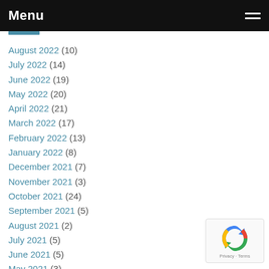Menu
August 2022 (10)
July 2022 (14)
June 2022 (19)
May 2022 (20)
April 2022 (21)
March 2022 (17)
February 2022 (13)
January 2022 (8)
December 2021 (7)
November 2021 (3)
October 2021 (24)
September 2021 (5)
August 2021 (2)
July 2021 (5)
June 2021 (5)
May 2021 (3)